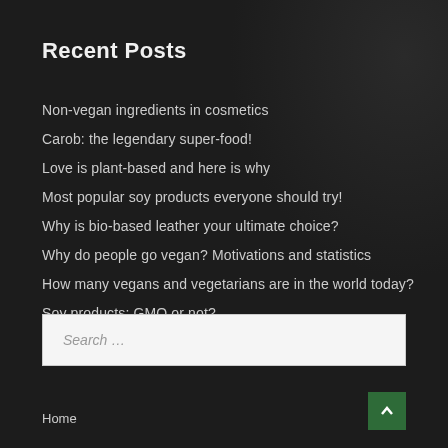Recent Posts
Non-vegan ingredients in cosmetics
Carob: the legendary super-food!
Love is plant-based and here is why
Most popular soy products everyone should try!
Why is bio-based leather your ultimate choice?
Why do people go vegan? Motivations and statistics
How many vegans and vegetarians are in the world today?
Soy products: GMO or not?
Search …
Home